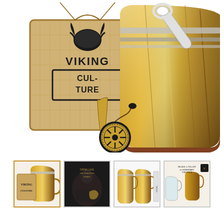[Figure (photo): Main product photo showing a Viking Culture horn mug/tankard set. Includes a large horn drinking mug with handle, a burlap bag with Viking Culture logo (viking helmet design), a bottle opener, a small horn shot glass, and a decorative coin/coaster with Vegvisir (Viking compass) engraving. All items displayed on white background.]
[Figure (photo): Thumbnail 1 (selected): Close-up of the Viking Culture horn mug with burlap bag, selected/highlighted with gold border.]
[Figure (photo): Thumbnail 2: Dark moody photo of a tattooed person holding a horn mug, with Viking Culture branding text overlay.]
[Figure (photo): Thumbnail 3: Product photo showing two horn mugs side by side on white background, with packaging box visible.]
[Figure (photo): Thumbnail 4: Styled photo showing horn mugs and glassware with text overlay reading 'Make a Toast to Legendary Vikings' with Viking Culture logo.]